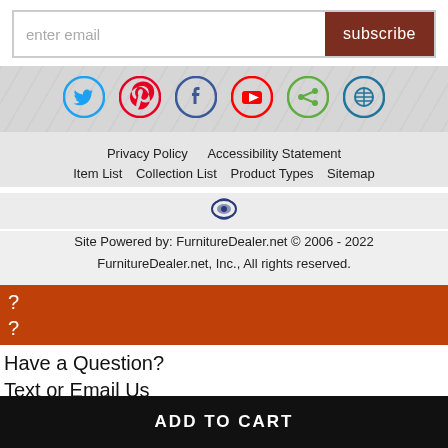enter email
subscribe
[Figure (other): Social media icons row: Twitter (blue circle), Pinterest (red circle), Facebook (dark blue circle), YouTube (red circle), Sharethis (green circle), WordPress (blue circle)]
Privacy Policy   Accessibility Statement
Item List   Collection List   Product Types   Sitemap
[Figure (logo): Small decorative logo/emblem icon]
Site Powered by: FurnitureDealer.net © 2006 - 2022
FurnitureDealer.net, Inc., All rights reserved.
?
?
Have a Question?
Text or Email Us
×
ADD TO CART